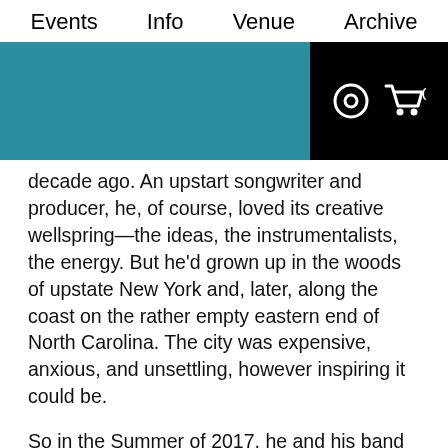Events   Info   Venue   Archive
[Figure (other): Website header band: teal section on left and black section on right containing a circular icon and shopping cart icon with '0']
decade ago. An upstart songwriter and producer, he, of course, loved its creative wellspring—the ideas, the instrumentalists, the energy. But he'd grown up in the woods of upstate New York and, later, along the coast on the rather empty eastern end of North Carolina. The city was expensive, anxious, and unsettling, however inspiring it could be.
So in the Summer of 2017, he and his band decamped to a rented house upstate to cut his second album, the magnetic You, Forever. He then realized he could no longer resist the urge; two years ago, Sam and his partner, Hannah